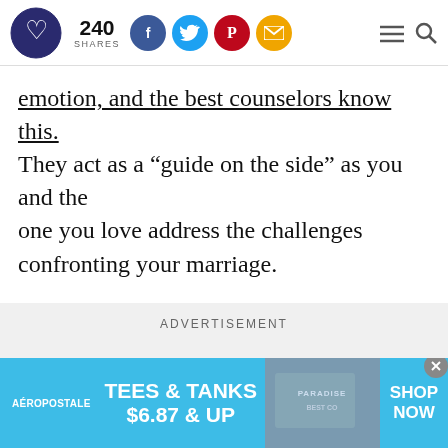240 SHARES [social icons: Facebook, Twitter, Pinterest, Email] [menu] [search]
emotion, and the best counselors know this. They act as a “guide on the side” as you and the one you love address the challenges confronting your marriage.
ADVERTISEMENT
[Figure (screenshot): Aeropostale advertisement banner: 'TEES & TANKS $6.87 & UP' with SHOP NOW call to action and clothing image]